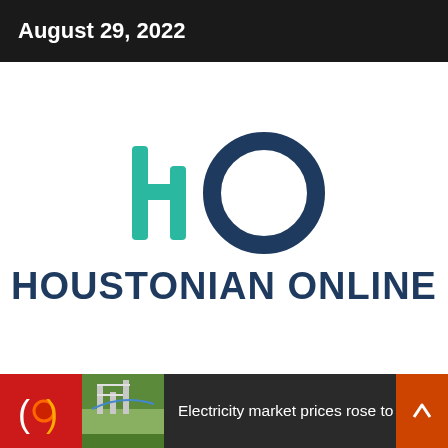August 29, 2022
[Figure (logo): Houstonian Online logo: stylized 'HO' letters in teal/dark blue with circular O shape, above bold dark blue text 'HOUSTONIAN ONLINE']
Electricity market prices rose to recor...
Navigation bar with home icon, menu icon, and search icon